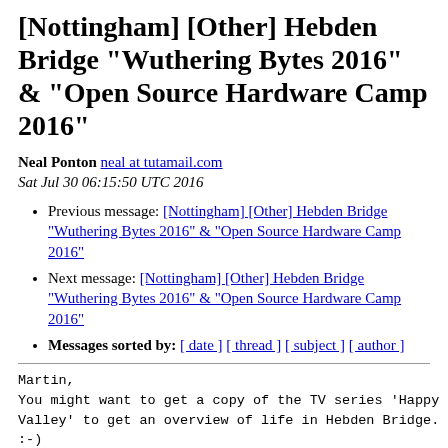[Nottingham] [Other] Hebden Bridge "Wuthering Bytes 2016" & "Open Source Hardware Camp 2016"
Neal Ponton neal at tutamail.com
Sat Jul 30 06:15:50 UTC 2016
Previous message: [Nottingham] [Other] Hebden Bridge "Wuthering Bytes 2016" & "Open Source Hardware Camp 2016"
Next message: [Nottingham] [Other] Hebden Bridge "Wuthering Bytes 2016" & "Open Source Hardware Camp 2016"
Messages sorted by: [ date ] [ thread ] [ subject ] [ author ]
Martin,
You might want to get a copy of the TV series 'Happy
Valley' to get an overview of life in Hebden Bridge.
:-)